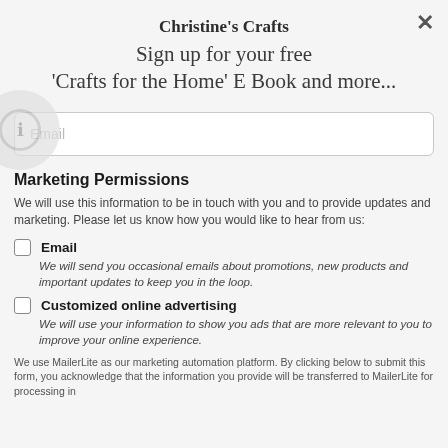Christine's Crafts
Sign up for your free 'Crafts for the Home' E Book and more...
Email
Marketing Permissions
We will use this information to be in touch with you and to provide updates and marketing. Please let us know how you would like to hear from us:
Email
We will send you occasional emails about promotions, new products and important updates to keep you in the loop.
Customized online advertising
We will use your information to show you ads that are more relevant to you to improve your online experience.
We use MailerLite as our marketing automation platform. By clicking below to submit this form, you acknowledge that the information you provide will be transferred to MailerLite for processing in